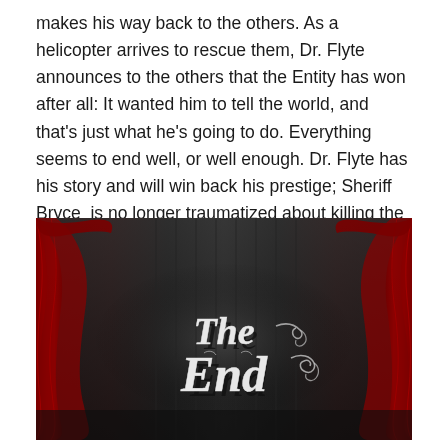makes his way back to the others. As a helicopter arrives to rescue them, Dr. Flyte announces to the others that the Entity has won after all: It wanted him to tell the world, and that's just what he's going to do. Everything seems to end well, or well enough. Dr. Flyte has his story and will win back his prestige; Sheriff Bryce  is no longer traumatized about killing the boy; Dr. Jen and Sheriff Bryce have found each other; and Lisa and Dr. Jen have bonded. Sounds as perfect an ending you can get for a horror film.
[Figure (illustration): Theatrical 'The End' title card image showing red curtains on both sides framing a dark background with ornate cursive text reading 'The End' in silver/white decorative script.]